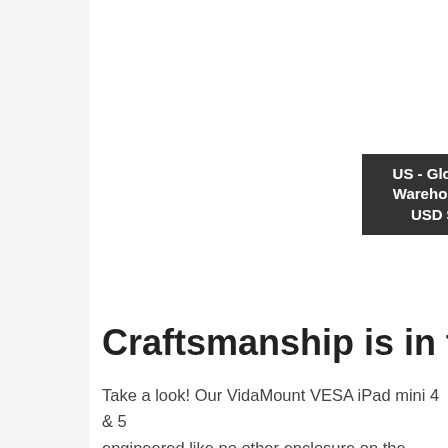[Figure (other): Left sidebar panel with light gray background]
US - Global Warehouse USD $
Craftsmanship is in the De
Take a look! Our VidaMount VESA iPad mini 4 & 5 engineered like no other enclosure on the market details like a mic hole, speaker grill, interior pads a power button service knockout, each enclosure